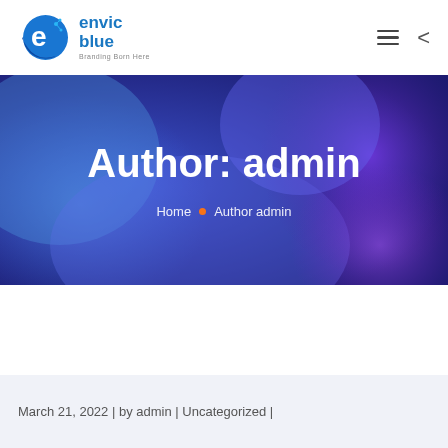[Figure (logo): Envic Blue logo with circular blue 'e' icon and text 'envic blue — Branding Born Here']
[Figure (other): Hamburger menu icon (three horizontal lines) and a left-pointing back arrow]
[Figure (illustration): Hero banner with abstract blue and purple fluid/blob shapes background]
Author: admin
Home • Author admin
March 21, 2022 | by admin | Uncategorized |